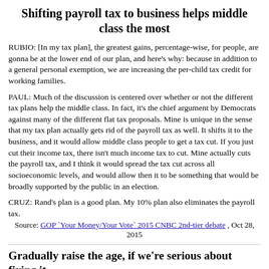Shifting payroll tax to business helps middle class the most
RUBIO: [In my tax plan], the greatest gains, percentage-wise, for people, are gonna be at the lower end of our plan, and here's why: because in addition to a general personal exemption, we are increasing the per-child tax credit for working families.
PAUL: Much of the discussion is centered over whether or not the different tax plans help the middle class. In fact, it's the chief argument by Democrats against many of the different flat tax proposals. Mine is unique in the sense that my tax plan actually gets rid of the payroll tax as well. It shifts it to the business, and it would allow middle class people to get a tax cut. If you just cut their income tax, there isn't much income tax to cut. Mine actually cuts the payroll tax, and I think it would spread the tax cut across all socioeconomic levels, and would allow then it to be something that would be broadly supported by the public in an election.
CRUZ: Rand's plan is a good plan. My 10% plan also eliminates the payroll tax.
Source: GOP `Your Money/Your Vote` 2015 CNBC 2nd-tier debate , Oct 28, 2015
Gradually raise the age, if we're serious about fixing it
The question always is, what works better, the private marketplace or government? It always seems to be the private marketplace does a better job. Can you have Medicare or Social Security? Yes. But you ought to acknowledge the government doesn't do a very good job at it. I have a bill to fix Medicare. I've a bill to fix Social